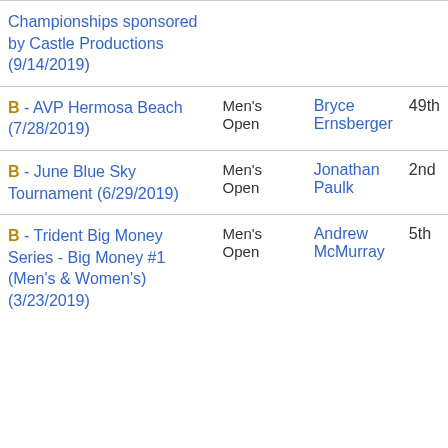| Tournament | Division | Partner | Finish |
| --- | --- | --- | --- |
| Season Championships sponsored by Castle Productions (9/14/2019) |  |  |  |
| B - AVP Hermosa Beach (7/28/2019) | Men's Open | Bryce Ernsberger | 49th |
| B - June Blue Sky Tournament (6/29/2019) | Men's Open | Jonathan Paulk | 2nd |
| B - Trident Big Money Series - Big Money #1 (Men's & Women's) (3/23/2019) | Men's Open | Andrew McMurray | 5th |